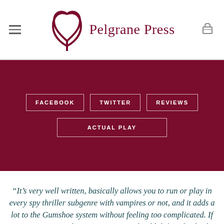Pelgrane Press
FACEBOOK
TWITTER
REVIEWS
ACTUAL PLAY
“It’s very well written, basically allows you to run or play in every spy thriller subgenre with vampires or not, and it adds a lot to the Gumshoe system without feeling too complicated. If you are interested in spy games you should definitely check this game out, I doubt you’ll find anything better anytime soon.”